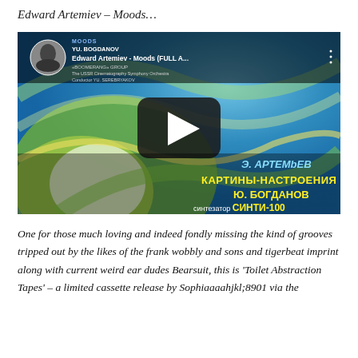Edward Artemiev – Moods…
[Figure (screenshot): YouTube video thumbnail showing Edward Artemiev - Moods (FULL A...) with Cyrillic text КАРТИНЫ-НАСТРОЕНИЯ, Ю. БОГДАНОВ, синтезатор СИНТИ-100 on a colorful abstract album cover background with a play button in the center.]
One for those much loving and indeed fondly missing the kind of grooves tripped out by the likes of the frank wobbly and sons and tigerbeat imprint along with current weird ear dudes Bearsuit, this is 'Toilet Abstraction Tapes' – a limited cassette release by Sophiaaaahjkl;8901 via the